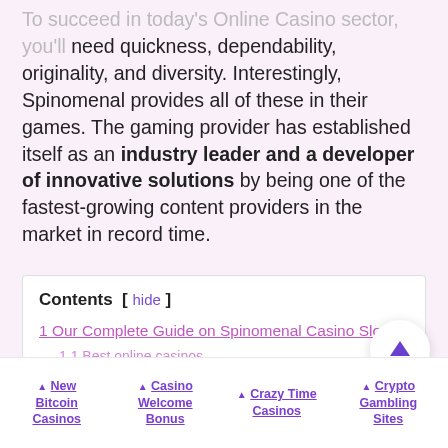To succeed in today's Online Casino sector, you'll need quickness, dependability, originality, and diversity. Interestingly, Spinomenal provides all of these in their games. The gaming provider has established itself as an industry leader and a developer of innovative solutions by being one of the fastest-growing content providers in the market in record time.
Contents  [ hide ]
1 Our Complete Guide on Spinomenal Casino Slots
1.1 Best online casinos...
New Bitcoin Casinos | Casino Welcome Bonus | Crazy Time Casinos | Crypto Gambling Sites